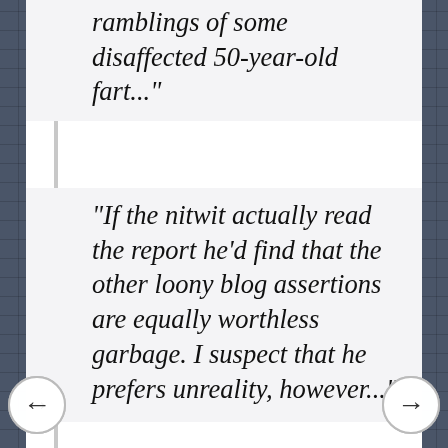ramblings of some disaffected 50-year-old fart..."
"If the nitwit actually read the report he'd find that the other loony blog assertions are equally worthless garbage. I suspect that he prefers unreality, however..."
All these just from The Talk at the Guardian Unlimited site. I have been called worse, and I have a long way to go before I compete with Polly Toynbee in attracting abuse. In fairness to the comrades concerned, these comments did cause me to reread a Home Office report I had